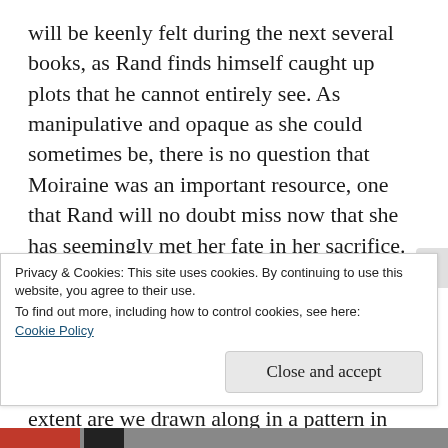will be keenly felt during the next several books, as Rand finds himself caught up plots that he cannot entirely see. As manipulative and opaque as she could sometimes be, there is no question that Moiraine was an important resource, one that Rand will no doubt miss now that she has seemingly met her fate in her sacrifice.
Overall, the novel is both narratively rich and philosophically compelling. It continues to pose the question: to what extent are we the agents of our own lives and to what extent are we drawn along in a pattern in which we have no say? Met
Privacy & Cookies: This site uses cookies. By continuing to use this website, you agree to their use.
To find out more, including how to control cookies, see here: Cookie Policy